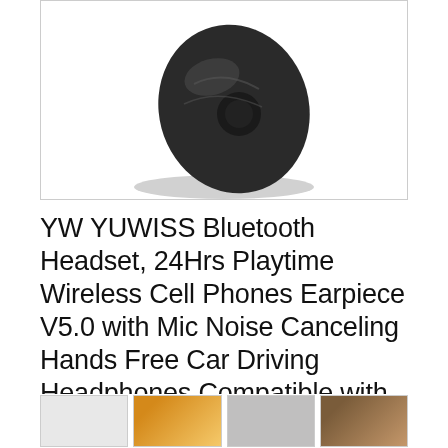[Figure (photo): A dark grey/black wireless earbud (Bluetooth headset) shown from above against a white background, with a soft shadow beneath it.]
YW YUWISS Bluetooth Headset, 24Hrs Playtime Wireless Cell Phones Earpiece V5.0 with Mic Noise Canceling Hands Free Car Driving Headphones Compatible with iPhone An
As an Amazon Associate I earn from qualifying purchases. This website uses the only necessary cookies to ensure you get the best experience on our website. More information
#ad
[Figure (photo): Bottom row of three small thumbnail images partially visible at the bottom of the page.]